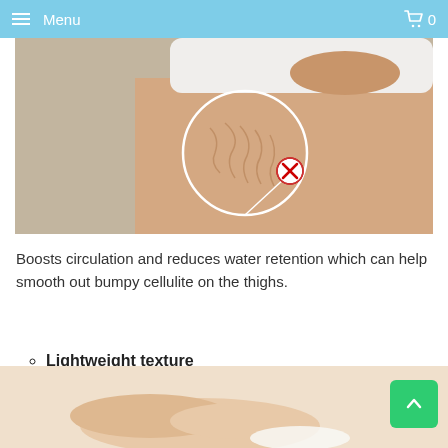Menu  0
[Figure (photo): Photo of a woman's thigh showing cellulite with a white circle outline highlighting the affected area and a red X mark, on a light gray background.]
Boosts circulation and reduces water retention which can help smooth out bumpy cellulite on the thighs.
Lightweight texture
[Figure (photo): Partial photo of hands applying cream or lotion, visible at the bottom of the page.]